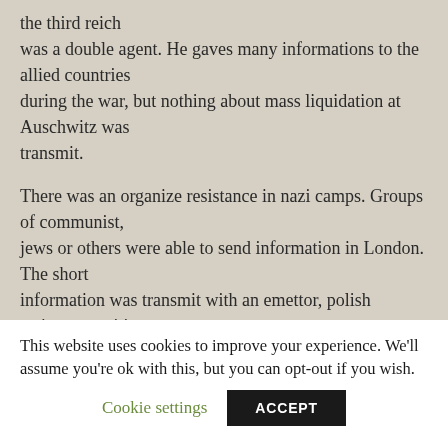the third reich was a double agent. He gaves many informations to the allied countries during the war, but nothing about mass liquidation at Auschwitz was transmit.
There was an organize resistance in nazi camps. Groups of communist, jews or others were able to send information in London. The short information was transmit with an emettor, polish resistance unities
This website uses cookies to improve your experience. We'll assume you're ok with this, but you can opt-out if you wish.
Cookie settings
ACCEPT